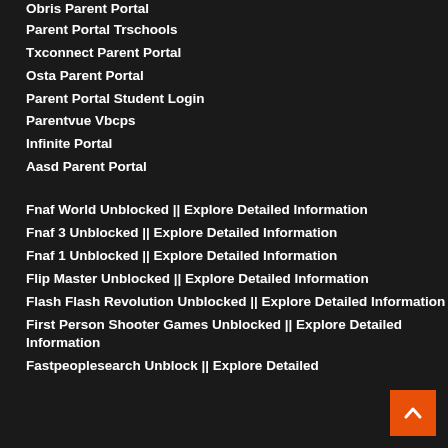Obris Parent Portal
Parent Portal Trschools
Txconnect Parent Portal
Osta Parent Portal
Parent Portal Student Login
Parentvue Vbcps
Infinite Portal
Aasd Parent Portal
Fnaf World Unblocked || Explore Detailed Information
Fnaf 3 Unblocked || Explore Detailed Information
Fnaf 1 Unblocked || Explore Detailed Information
Flip Master Unblocked || Explore Detailed Information
Flash Flash Revolution Unblocked || Explore Detailed Information
First Person Shooter Games Unblocked || Explore Detailed Information
Fastpeoplesearch Unblock || Explore Detailed